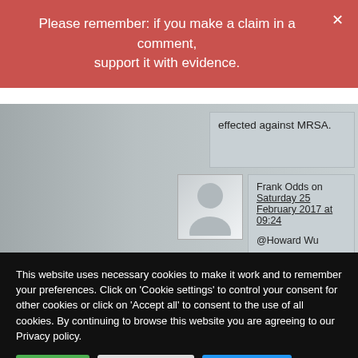Please remember: if you make a claim in a comment, support it with evidence.
effected against MRSA.
Frank Odds on Saturday 25 February 2017 at 09:24
@Howard Wu

"getting late so I got lazying clipped and paste somebody else's work." So late you can't
This website uses necessary cookies to make it work and to remember your preferences. Click on 'Cookie settings' to control your consent for other cookies or click on 'Accept all' to consent to the use of all cookies. By continuing to browse this website you are agreeing to our Privacy policy.
Accept all
Cookie settings
Privacy policy